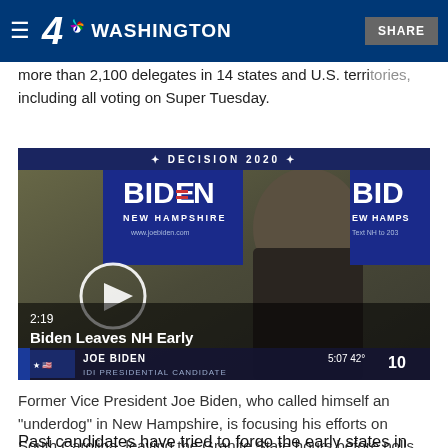4 NBC WASHINGTON  SHARE
more than 2,100 delegates in 14 states and U.S. territories, including all voting on Super Tuesday.
[Figure (screenshot): Video thumbnail showing Joe Biden at a New Hampshire campaign event. Shows DECISION 2020 bar at top, Biden New Hampshire campaign signs in background, play button overlay, timestamp 2:19, title 'Biden Leaves NH Early', chyron showing 'JOE BIDEN / IDI PRESIDENTIAL CANDIDATE' at bottom.]
Former Vice President Joe Biden, who called himself an "underdog" in New Hampshire, is focusing his efforts on South Carolina, leaving the Granite State hours before polls were set to close.
Past candidates have tried to forgo the early states in favor of the